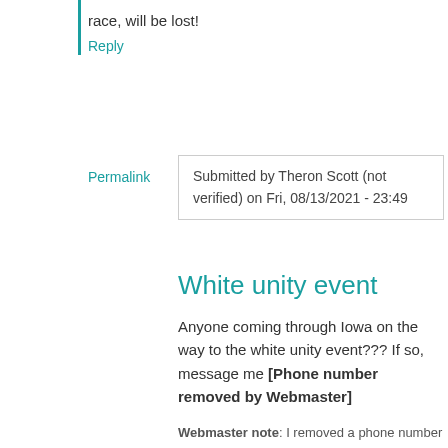race, will be lost!
Reply
Permalink
Submitted by Theron Scott (not verified) on Fri, 08/13/2021 - 23:49
White unity event
Anyone coming through Iowa on the way to the white unity event??? If so, message me [Phone number removed by Webmaster]
Webmaster note: I removed a phone number from public view. Post a reply with your email and I'll arrange contact.
Reply